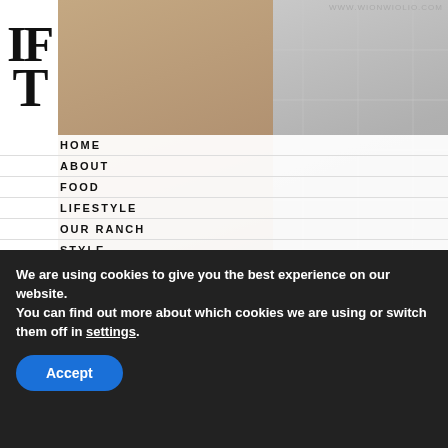WWW.WIONWIOLIO.COM
[Figure (screenshot): Website header with logo letters IF/T on left, floral/lifestyle photo background, and interior photo on right with grid lines overlay]
HOME
ABOUT
FOOD
LIFESTYLE
OUR RANCH
STYLE
TRAVEL
SHOP
HOLIDAYS
The Best Styling Products for Fringe Bangs
[Figure (photo): Woman with fringe bangs lifestyle photo]
[Figure (photo): Interior room with framed artwork on wall]
We are using cookies to give you the best experience on our website.
You can find out more about which cookies we are using or switch them off in settings.